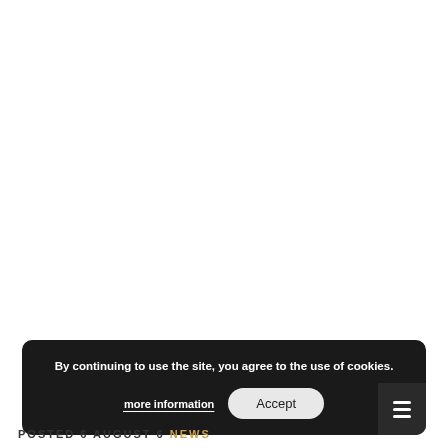[Figure (screenshot): White blank area at the top of the page, likely a website screenshot with content scrolled out of view.]
By continuing to use the site, you agree to the use of cookies.
more information   Accept
POSTED 6 AUGUST 6 NEWS